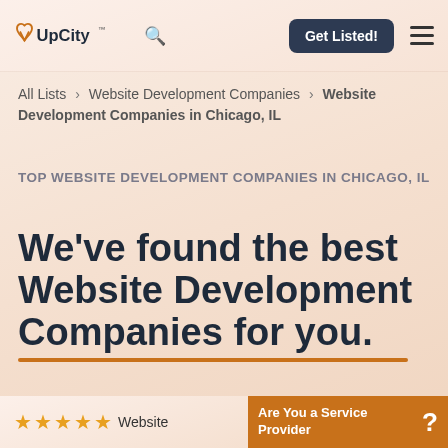UpCity | Get Listed!
All Lists > Website Development Companies > Website Development Companies in Chicago, IL
TOP WEBSITE DEVELOPMENT COMPANIES IN CHICAGO, IL
We've found the best Website Development Companies for you.
Are You a Service Provider ?